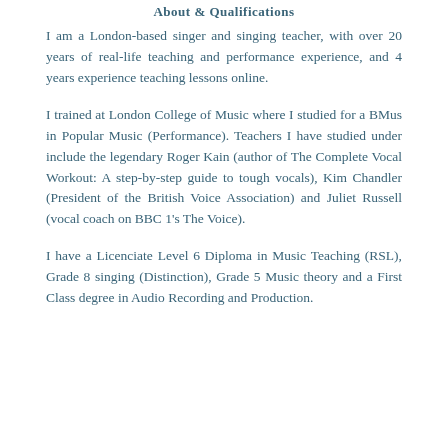About & Qualifications
I am a London-based singer and singing teacher, with over 20 years of real-life teaching and performance experience, and 4 years experience teaching lessons online.
I trained at London College of Music where I studied for a BMus in Popular Music (Performance). Teachers I have studied under include the legendary Roger Kain (author of The Complete Vocal Workout: A step-by-step guide to tough vocals), Kim Chandler (President of the British Voice Association) and Juliet Russell (vocal coach on BBC 1's The Voice).
I have a Licenciate Level 6 Diploma in Music Teaching (RSL), Grade 8 singing (Distinction), Grade 5 Music theory and a First Class degree in Audio Recording and Production.